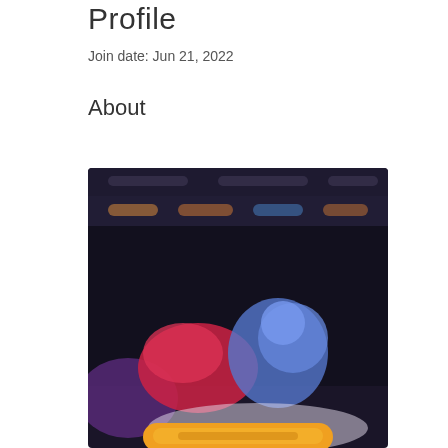Profile
Join date: Jun 21, 2022
About
[Figure (screenshot): Blurred screenshot of a dark-themed gaming or entertainment application interface showing colorful character artwork (blue and pink/red figures) and a yellow/orange button at the bottom.]